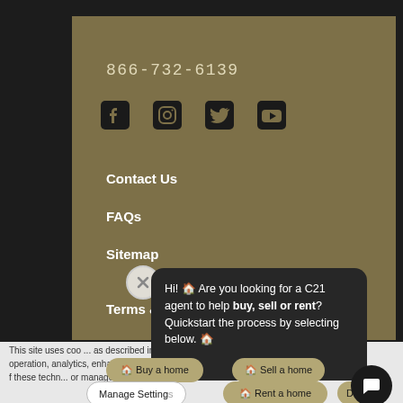866-732-6139
[Figure (illustration): Row of social media icons: Facebook, Instagram, Twitter, YouTube]
Contact Us
FAQs
Sitemap
Terms & Conditions
Hi! 🏠 Are you looking for a C21 agent to help buy, sell or rent? Quickstart the process by selecting below. 🏠
🏠 Buy a home
🏠 Sell a home
🏠 Rent a home
This site uses cookies as described in our privacy policy. operation, analytics, enhanced ou may choose to consent of these technologies or manage your own preferences.
Manage Settings
Dec...